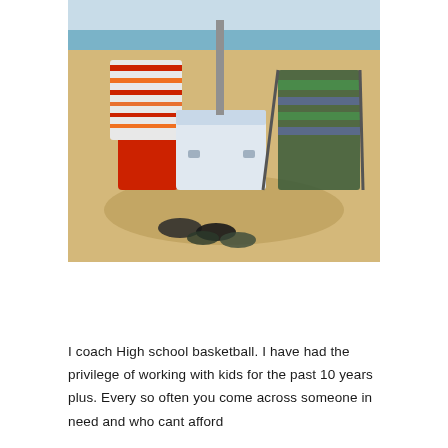[Figure (photo): Beach scene with beach chairs, a colorful striped towel draped over a red bag/cart, a white cooler in the center, a folding beach chair on the right, and flip-flops/sandals on the sand in the foreground. Ocean and sky visible in the background.]
I coach High school basketball. I have had the privilege of working with kids for the past 10 years plus. Every so often you come across someone in need and who cant afford